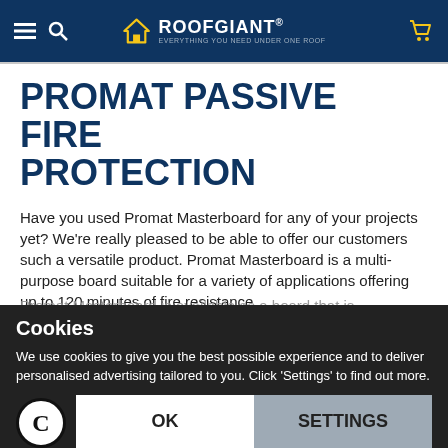ROOFGIANT® — EVERYTHING YOU NEED UNDER ONE ROOF
PROMAT PASSIVE FIRE PROTECTION
Have you used Promat Masterboard for any of your projects yet? We're really pleased to be able to offer our customers such a versatile product. Promat Masterboard is a multi-purpose board suitable for a variety of applications offering up to 120 minutes of fire resistance. Promat Masterboard is available as a board that is constructed of calcium silicate board, reinforced with selected fibres and fillers. You'll be glad to know it's formulated to have a smooth face on one side with a sanded reverse face. You can leave it undecorated or
Cookies
We use cookies to give you the best possible experience and to deliver personalised advertising tailored to you. Click 'Settings' to find out more.
OK    SETTINGS